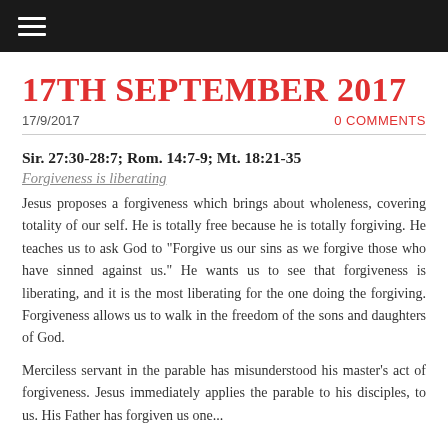≡
17TH SEPTEMBER 2017
17/9/2017
0 COMMENTS
Sir. 27:30-28:7; Rom. 14:7-9; Mt. 18:21-35
Forgiveness is liberating
Jesus proposes a forgiveness which brings about wholeness, covering totality of our self. He is totally free because he is totally forgiving. He teaches us to ask God to "Forgive us our sins as we forgive those who have sinned against us." He wants us to see that forgiveness is liberating, and it is the most liberating for the one doing the forgiving. Forgiveness allows us to walk in the freedom of the sons and daughters of God.
Merciless servant in the parable has misunderstood his master's act of forgiveness. Jesus immediately applies the parable to his disciples, to us. His Father has forgiven us one...